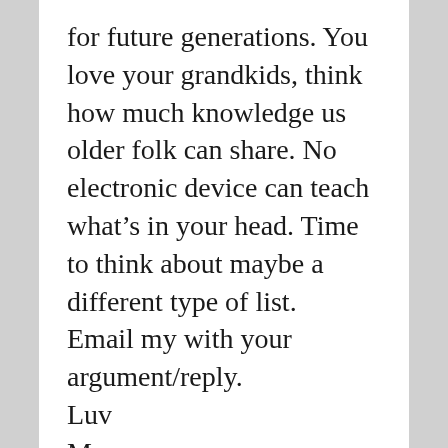for future generations. You love your grandkids, think how much knowledge us older folk can share. No electronic device can teach what's in your head. Time to think about maybe a different type of list.
Email my with your argument/reply.
Luv
M